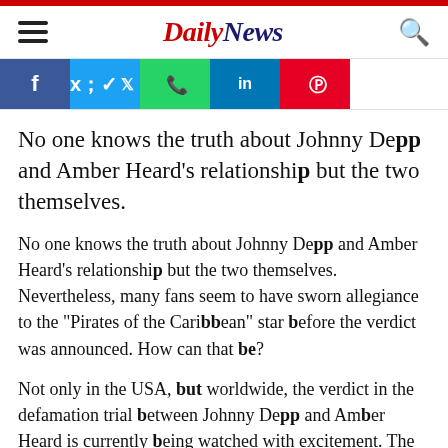Daily News
[Figure (other): Social media share buttons: Facebook, Twitter, WhatsApp, LinkedIn, Pinterest]
No one knows the truth about Johnny Depp and Amber Heard's relationship but the two themselves.
No one knows the truth about Johnny Depp and Amber Heard's relationship but the two themselves. Nevertheless, many fans seem to have sworn allegiance to the "Pirates of the Caribbean" star before the verdict was announced. How can that be?
Not only in the USA, but worldwide, the verdict in the defamation trial between Johnny Depp and Amber Heard is currently being watched with excitement. The ex-couple accused each other of domestic violence in court and gave the public deep insights into human abysses that are otherwise only known